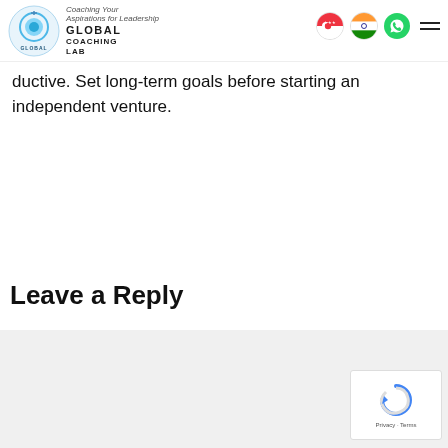Global Coaching Lab — Coaching Your Aspirations for Leadership
ductive. Set long-term goals before starting an independent venture.
Leave a Reply
[Figure (screenshot): Comment form area with light gray background and reCAPTCHA widget in bottom right corner showing Privacy - Terms text]